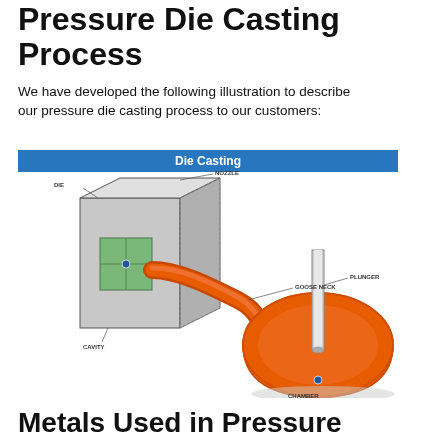Pressure Die Casting Process
We have developed the following illustration to describe our pressure die casting process to our customers:
Die Casting
[Figure (engineering-diagram): Labeled engineering diagram of a pressure die casting setup showing a die (mold block) connected via a goose neck channel to a chamber. Labels point to: DIE, NOZZLE, GOOSE NECK, PLUNGER, CAVITY, CHAMBER. The die is shown as a gray 3D block with a green cavity opening. Orange molten metal fills the goose neck and chamber. A plunger rod extends vertically into the chamber.]
Metals Used in Pressure